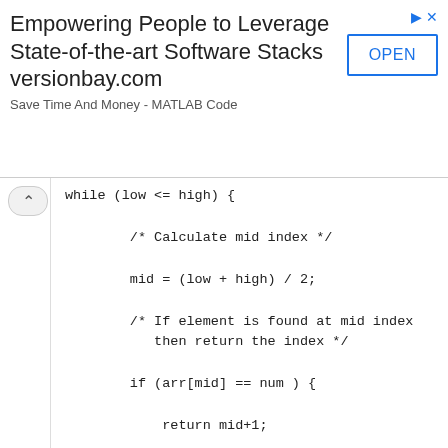[Figure (screenshot): Advertisement banner: 'Empowering People to Leverage State-of-the-art Software Stacks versionbay.com - Save Time And Money - MATLAB Code' with an OPEN button]
while (low <= high) {

        /* Calculate mid index */

        mid = (low + high) / 2;

        /* If element is found at mid index
           then return the index */

        if (arr[mid] == num ) {

            return mid+1;

        } else if ( arr[mid] > num) {

            high = mid - 1;

        } else if ( arr[mid] < num) {

            low = mid + 1;